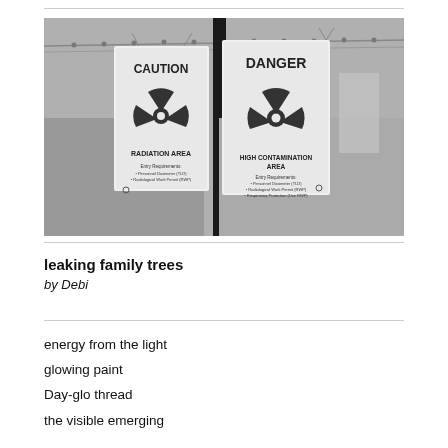[Figure (photo): Black and white photograph of two radiation warning signs hanging on a chain-link fence. Left sign reads 'CAUTION RADIATION AREA' with radiation symbol and entry requirements text. Right sign reads 'DANGER HIGH CONTAMINATION AREA' with radiation symbol and entry requirements text.]
leaking family trees
by Debi
energy from the light
glowing paint
Day-glo thread
the visible emerging